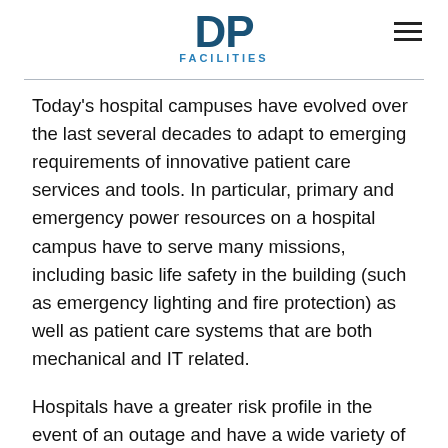DP FACILITIES
Today's hospital campuses have evolved over the last several decades to adapt to emerging requirements of innovative patient care services and tools. In particular, primary and emergency power resources on a hospital campus have to serve many missions, including basic life safety in the building (such as emergency lighting and fire protection) as well as patient care systems that are both mechanical and IT related.
Hospitals have a greater risk profile in the event of an outage and have a wide variety of additional